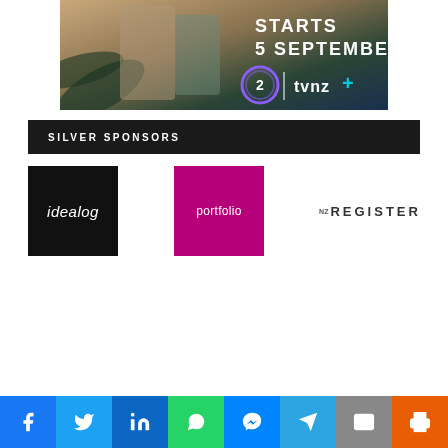[Figure (illustration): TVNZ+ advertisement banner showing 'STARTS 5 SEPTEMBER' text with TVNZ 2 and TVNZ+ logos on a scenic background with people]
SILVER SPONSORS
[Figure (logo): Idealog logo - white italic text on black square background]
[Figure (logo): Portfolio logo - white text on magenta/pink square background]
[Figure (logo): NZ Register logo - dark text with NZ prefix on white background]
[Figure (infographic): Social sharing bar with icons for Facebook, Twitter, LinkedIn, WhatsApp, Messenger, Telegram, Email, and Print]